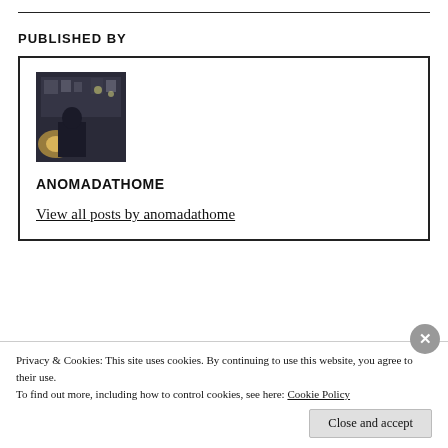PUBLISHED BY
[Figure (photo): Author profile photo showing a dimly lit room with shelves and items in background, person visible]
ANOMADATHOME
View all posts by anomadathome
Privacy & Cookies: This site uses cookies. By continuing to use this website, you agree to their use.
To find out more, including how to control cookies, see here: Cookie Policy
Close and accept